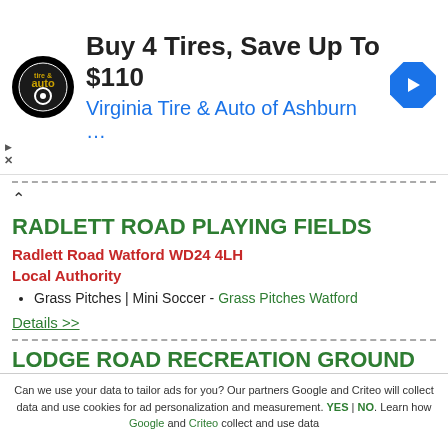[Figure (infographic): Advertisement banner for Virginia Tire & Auto of Ashburn. Shows circular logo, headline 'Buy 4 Tires, Save Up To $110', subtitle 'Virginia Tire & Auto of Ashburn ...', and a blue navigation arrow icon.]
RADLETT ROAD PLAYING FIELDS
Radlett Road Watford WD24 4LH
Local Authority
Grass Pitches | Mini Soccer - Grass Pitches Watford
Details >>
LODGE ROAD RECREATION GROUND
Lodge Road Leicester LE8 8BX
Local Authority
Can we use your data to tailor ads for you? Our partners Google and Criteo will collect data and use cookies for ad personalization and measurement. YES | NO. Learn how Google and Criteo collect and use data